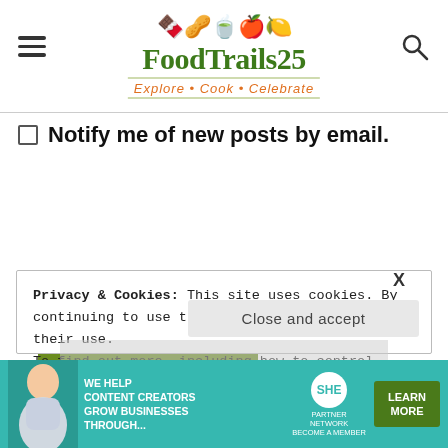FoodTrails25 — Explore • Cook • Celebrate
Notify me of new posts by email.
POST COMMENT
Privacy & Cookies: This site uses cookies. By continuing to use this website, you agree to their use. To find out more, including how to control cookies, see here: Cookie Policy
Close and accept
[Figure (infographic): SHE Media Partner Network advertisement banner: WE HELP CONTENT CREATORS GROW BUSINESSES THROUGH... with LEARN MORE button]